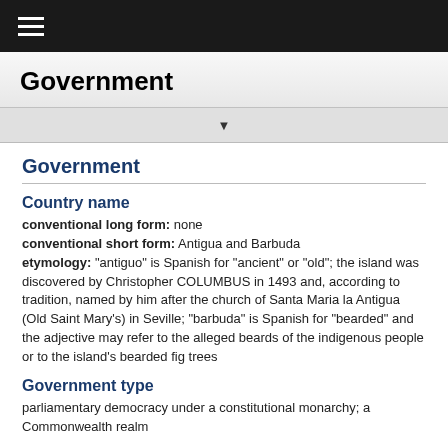Government
Government
Country name
conventional long form: none
conventional short form: Antigua and Barbuda
etymology: "antiguo" is Spanish for "ancient" or "old"; the island was discovered by Christopher COLUMBUS in 1493 and, according to tradition, named by him after the church of Santa Maria la Antigua (Old Saint Mary's) in Seville; "barbuda" is Spanish for "bearded" and the adjective may refer to the alleged beards of the indigenous people or to the island's bearded fig trees
Government type
parliamentary democracy under a constitutional monarchy; a Commonwealth realm
Capital
name: Saint John's